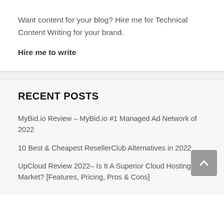Want content for your blog? Hire me for Technical Content Writing for your brand.
Hire me to write
RECENT POSTS
MyBid.io Review – MyBid.io #1 Managed Ad Network of 2022
10 Best & Cheapest ResellerClub Alternatives in 2022
UpCloud Review 2022– Is It A Superior Cloud Hosting In Market? [Features, Pricing, Pros & Cons]